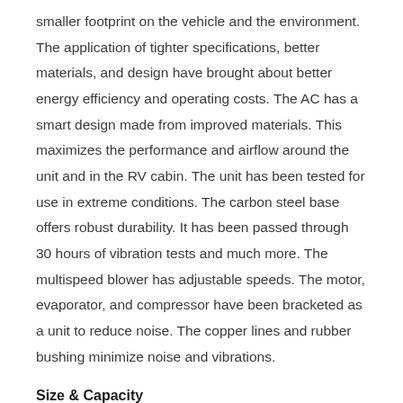smaller footprint on the vehicle and the environment. The application of tighter specifications, better materials, and design have brought about better energy efficiency and operating costs. The AC has a smart design made from improved materials. This maximizes the performance and airflow around the unit and in the RV cabin. The unit has been tested for use in extreme conditions. The carbon steel base offers robust durability. It has been passed through 30 hours of vibration tests and much more. The multispeed blower has adjustable speeds. The motor, evaporator, and compressor have been bracketed as a unit to reduce noise. The copper lines and rubber bushing minimize noise and vibrations.
Size & Capacity
Dometic Brisk II has a cooling capacity of 13500 BTU with an input voltage of 115V. The unit is 29.62 inches by 13.62